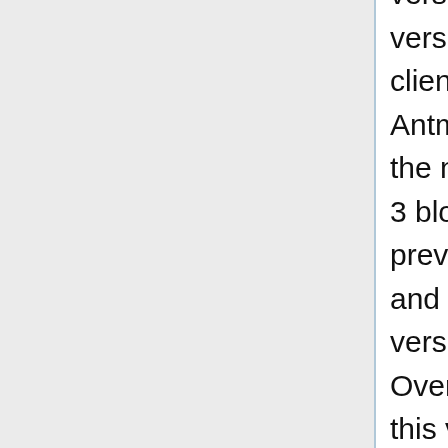version 3 blocks, BTCNuggets created a version 2 block which was invalid to all new clients (>=0.9.5) but valid to old clients. Antminer and F2Pool, comprising ~40% of the network at the time, were creating version 3 blocks, however neither miner validated previous blocks. This caused both Antminer and F2Pool to mine on top of BTCNuggets version 2 block and create an invalid fork. Over 40% of the hashpower was mining on this version 2 fork despite 95% having "agreed" to not do so. This led to a 6 block fork that was resolved after contacting the F2Pool and Antminer pool owners.
Any SPV clients or out of date clients were vulnerable to these fake confirmations and in theory there could have been a reversed 6 confirmation